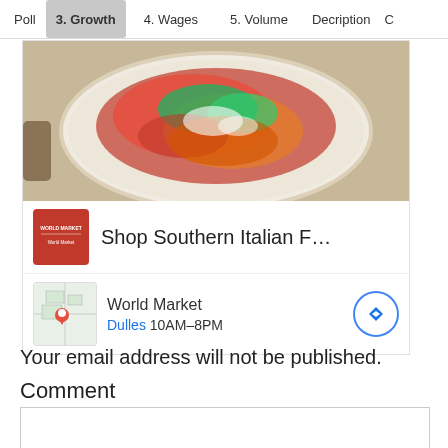Poll | 3. Growth | 4. Wages | 5. Volume | Decription | C
[Figure (screenshot): Advertisement block showing a food image (Italian pasta dish) at top, followed by World Market logo and text 'Shop Southern Italian F...' and a map thumbnail with store info: World Market, Dulles 10AM-8PM with navigation button]
Your email address will not be published.
Comment